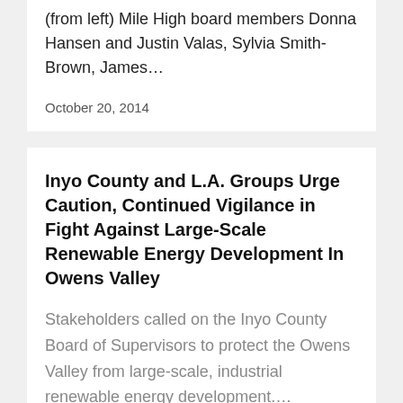(from left) Mile High board members Donna Hansen and Justin Valas, Sylvia Smith-Brown, James…
October 20, 2014
Inyo County and L.A. Groups Urge Caution, Continued Vigilance in Fight Against Large-Scale Renewable Energy Development In Owens Valley
Stakeholders called on the Inyo County Board of Supervisors to protect the Owens Valley from large-scale, industrial renewable energy development….